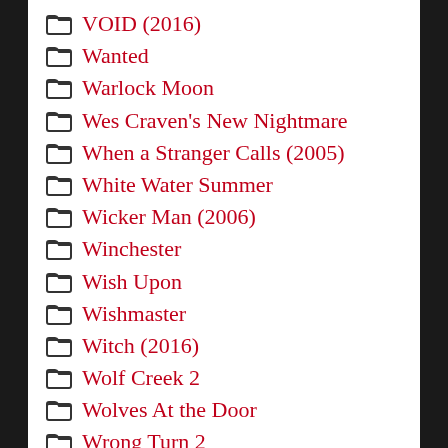VOID (2016)
Wanted
Warlock Moon
Wes Craven's New Nightmare
When a Stranger Calls (2005)
White Water Summer
Wicker Man (2006)
Winchester
Wish Upon
Wishmaster
Witch (2016)
Wolf Creek 2
Wolves At the Door
Wrong Turn 2
Wrong Turn 4